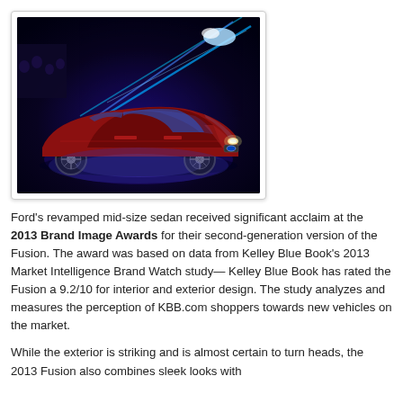[Figure (photo): A red Ford Fusion sedan on a rotating platform under dramatic blue laser/spotlight lighting in a dark event setting]
Ford's revamped mid-size sedan received significant acclaim at the 2013 Brand Image Awards for their second-generation version of the Fusion. The award was based on data from Kelley Blue Book's 2013 Market Intelligence Brand Watch study— Kelley Blue Book has rated the Fusion a 9.2/10 for interior and exterior design. The study analyzes and measures the perception of KBB.com shoppers towards new vehicles on the market.
While the exterior is striking and is almost certain to turn heads, the 2013 Fusion also combines sleek looks with